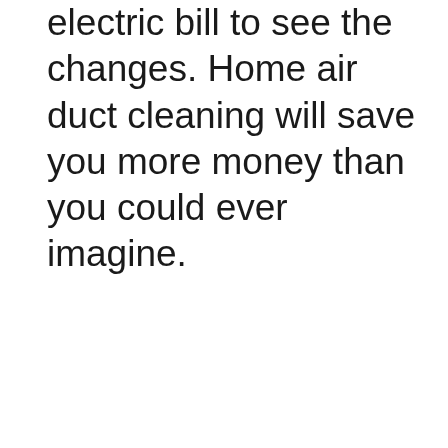electric bill to see the changes. Home air duct cleaning will save you more money than you could ever imagine.